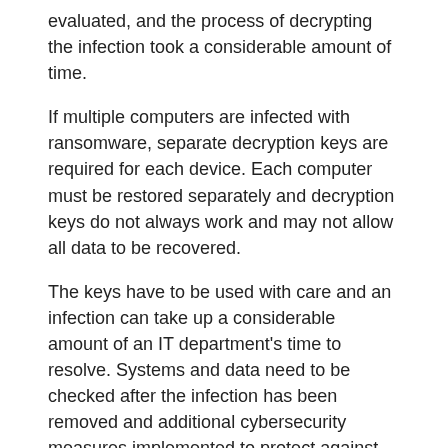evaluated, and the process of decrypting the infection took a considerable amount of time.
If multiple computers are infected with ransomware, separate decryption keys are required for each device. Each computer must be restored separately and decryption keys do not always work and may not allow all data to be recovered.
The keys have to be used with care and an infection can take up a considerable amount of an IT department's time to resolve. Systems and data need to be checked after the infection has been removed and additional cybersecurity measures implemented to protect against future attacks.
The University of Calgary ransomware attack has cost tens of thousands of dollars to resolve and shows that paying the attackers ransom demand is not a quick fix that will enable files to be quickly recovered. The